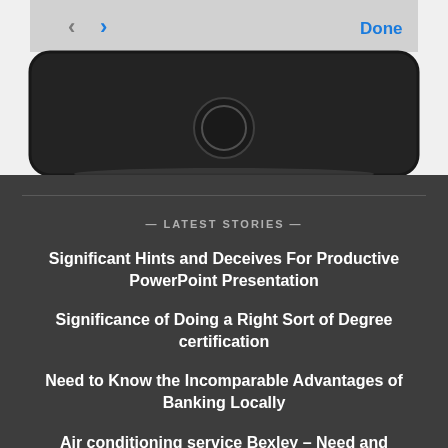[Figure (screenshot): Bottom portion of an iPhone showing a dark bezel with a home button circle, and the bottom of a browser toolbar showing back/forward arrows and a blue 'Done' button on a white/light gray bar.]
— LATEST STORIES —
Significant Hints and Deceives For Productive PowerPoint Presentation
Significance of Doing a Right Sort of Degree certification
Need to Know the Incomparable Advantages of Banking Locally
Air conditioning service Bexley – Need and Importance